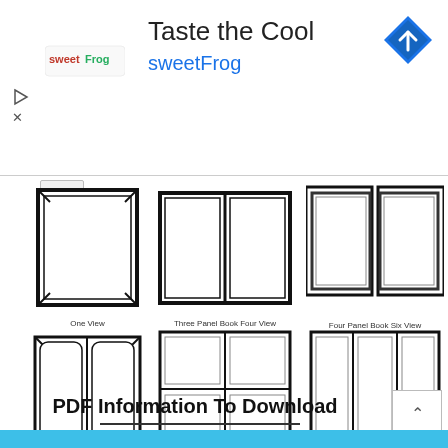[Figure (screenshot): Advertisement banner for sweetFrog 'Taste the Cool' with logo, navigation icon, play and close buttons]
[Figure (illustration): Grid of album/book binding style diagrams: One View, Three Panel Book Four View, Four Panel Book Six View, Two View, Double Plus, Tri fold Three View, Multi Page (Screw Post), Three Ring Metal Binder]
PDF Information To Download